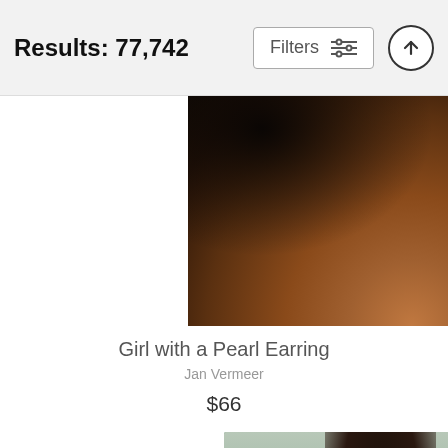Results: 77,742
[Figure (photo): Partial view of a painting showing a figure's bare shoulder and back against a dark background, with 'fine art america' watermark at bottom right. This is the Girl with a Pearl Earring painting by Jan Vermeer, showing only the shoulder/upper back area.]
Girl with a Pearl Earring
Jan Vermeer
$66
[Figure (photo): Mona Lisa painting by Leonardo da Vinci, showing the famous subject with dark hair, a slight smile, and a landscape background with mountains and water. Only the upper portion of the painting is visible (cropped at bottom).]